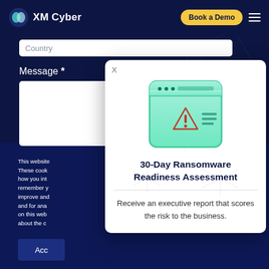XM Cyber — Book a Demo
Country
Message *
[Figure (screenshot): Modal popup showing a browser window illustration with a warning/alert icon and text '30-Day Ransomware Readiness Assessment — Receive an executive report that scores the risk to the business.' with an X close button in top-left.]
30-Day Ransomware Readiness Assessment
Receive an executive report that scores the risk to the business.
This website These cook how you int remember y improve an and for ana on this web about the c